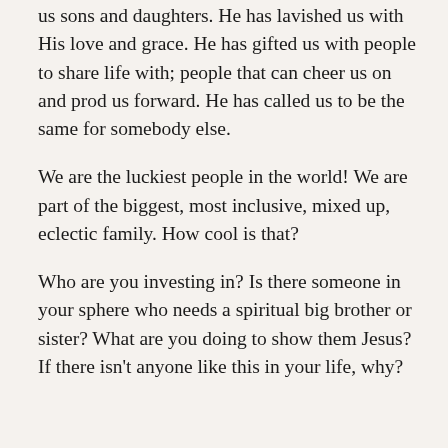us sons and daughters. He has lavished us with His love and grace. He has gifted us with people to share life with; people that can cheer us on and prod us forward. He has called us to be the same for somebody else.
We are the luckiest people in the world! We are part of the biggest, most inclusive, mixed up, eclectic family. How cool is that?
Who are you investing in? Is there someone in your sphere who needs a spiritual big brother or sister? What are you doing to show them Jesus? If there isn't anyone like this in your life, why?